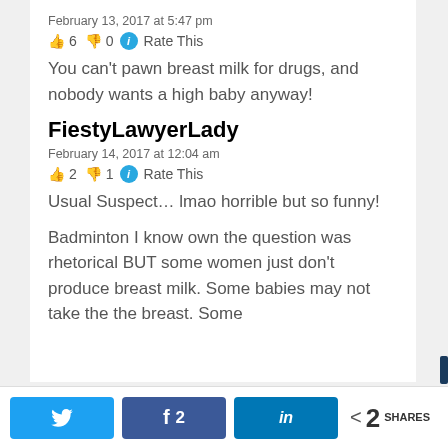February 13, 2017 at 5:47 pm
👍 6 👎 0 ℹ Rate This
You can't pawn breast milk for drugs, and nobody wants a high baby anyway!
FiestyLawyerLady
February 14, 2017 at 12:04 am
👍 2 👎 1 ℹ Rate This
Usual Suspect… lmao horrible but so funny!
Badminton I know own the question was rhetorical BUT some women just don't produce breast milk. Some babies may not take the the breast. Some